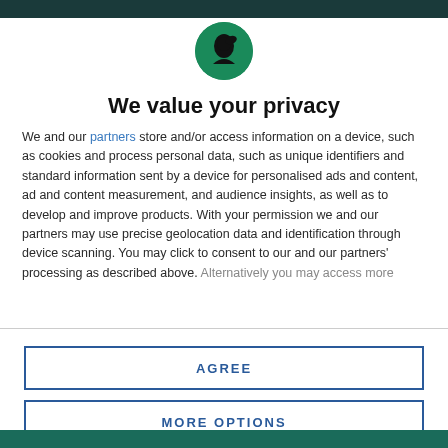[Figure (logo): Circular green logo with a dark silhouette figure (person with hat) on a green background]
We value your privacy
We and our partners store and/or access information on a device, such as cookies and process personal data, such as unique identifiers and standard information sent by a device for personalised ads and content, ad and content measurement, and audience insights, as well as to develop and improve products. With your permission we and our partners may use precise geolocation data and identification through device scanning. You may click to consent to our and our partners' processing as described above. Alternatively you may access more
AGREE
MORE OPTIONS